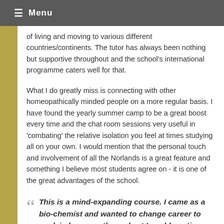≡ Menu
of living and moving to various different countries/continents. The tutor has always been nothing but supportive throughout and the school's international programme caters well for that.
What I do greatly miss is connecting with other homeopathically minded people on a more regular basis. I have found the yearly summer camp to be a great boost every time and the chat room sessions very useful in 'combating' the relative isolation you feel at times studying all on your own. I would mention that the personal touch and involvement of all the Norlands is a great feature and something I believe most students agree on - it is one of the great advantages of the school.
This is a mind-expanding course. I came as a bio-chemist and wanted to change career to work in homeopathy and yet I could continue